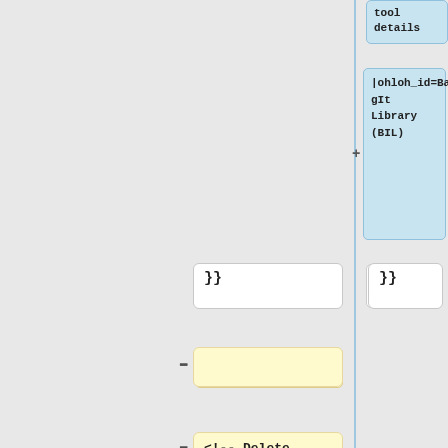[Figure (screenshot): Code diff viewer showing wiki template modifications. Left panel is grey background with a vertical blue line separator. Right panel shows blue highlighted boxes with 'tool details' and '|ohloh_id=BagIt Library (BIL)' text, white boxes with '}}', and yellow highlighted boxes showing diff removals including a comment '<!-- Delete the Categories that do not apply -->', '[[Category:Fixity]]', '[[Category:File Copy]]', and an empty yellow box at the bottom.]